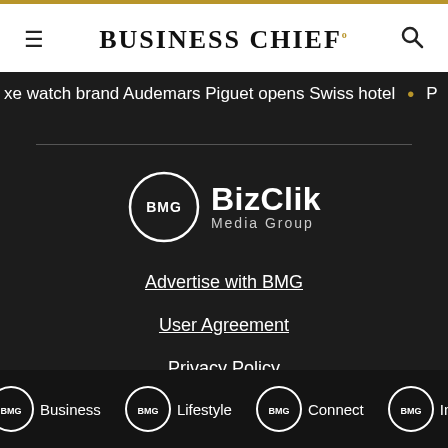BUSINESS CHIEF.
xe watch brand Audemars Piguet opens Swiss hotel • P
[Figure (logo): BMG BizClik Media Group logo - circle with BMG text inside, BizClik in bold white, Media Group in smaller text]
Advertise with BMG
User Agreement
Privacy Policy
[Figure (logo): Row of BMG brand logos: BMG Business, BMG Lifestyle, BMG Connect, BMG Intelligence]